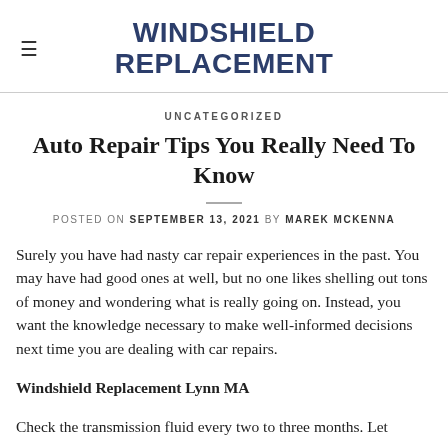WINDSHIELD REPLACEMENT
UNCATEGORIZED
Auto Repair Tips You Really Need To Know
POSTED ON SEPTEMBER 13, 2021 BY MAREK MCKENNA
Surely you have had nasty car repair experiences in the past. You may have had good ones at well, but no one likes shelling out tons of money and wondering what is really going on. Instead, you want the knowledge necessary to make well-informed decisions next time you are dealing with car repairs. Windshield Replacement Lynn MA
Check the transmission fluid every two to three months. Let